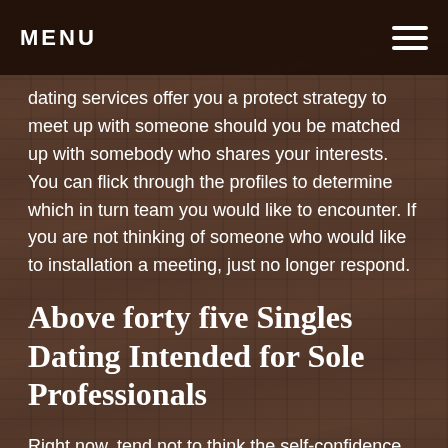MENU
dating services offer you a protect strategy to meet up with someone should you be matched up with somebody who shares your interests. You can flick through the profiles to determine which in turn team you would like to encounter. If you are not thinking of someone who would like to installation a meeting, just no longer respond.
Above forty five Singles Dating Intended for Sole Professionals
Right now, tend not to think the self-confidence about Asian dating websites will probably be less difficult when compared with the alternative sites. Asian women often seem submissive and pleasing.